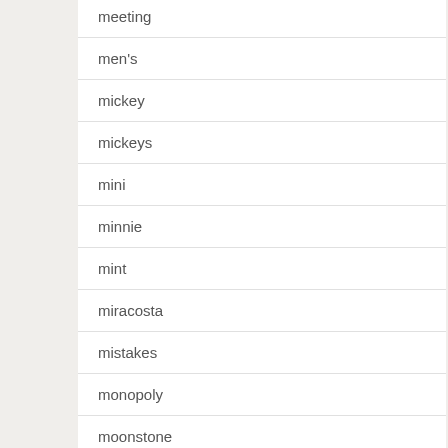meeting
men's
mickey
mickeys
mini
minnie
mint
miracosta
mistakes
monopoly
moonstone
more